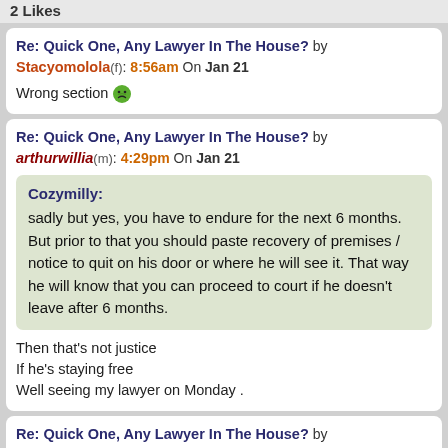2 Likes
Re: Quick One, Any Lawyer In The House? by Stacyomolola(f): 8:56am On Jan 21
Wrong section 😠
Re: Quick One, Any Lawyer In The House? by arthurwillia(m): 4:29pm On Jan 21
Cozymilly: sadly but yes, you have to endure for the next 6 months. But prior to that you should paste recovery of premises / notice to quit on his door or where he will see it. That way he will know that you can proceed to court if he doesn't leave after 6 months.
Then that's not justice
If he's staying free
Well seeing my lawyer on Monday .
Re: Quick One, Any Lawyer In The House? by